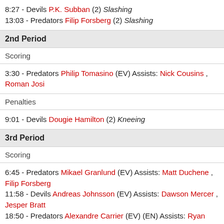8:27 - Devils P.K. Subban (2) Slashing
13:03 - Predators Filip Forsberg (2) Slashing
2nd Period
Scoring
3:30 - Predators Philip Tomasino (EV) Assists: Nick Cousins , Roman Josi
Penalties
9:01 - Devils Dougie Hamilton (2) Kneeing
3rd Period
Scoring
6:45 - Predators Mikael Granlund (EV) Assists: Matt Duchene , Filip Forsberg
11:58 - Devils Andreas Johnsson (EV) Assists: Dawson Mercer , Jesper Bratt
18:50 - Predators Alexandre Carrier (EV) (EN) Assists: Ryan Johansen
18:?? - Devils Tanner Tator (EV) Assists: ...